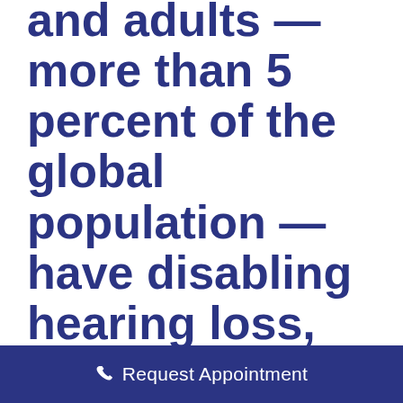and adults — more than 5 percent of the global population — have disabling hearing loss, according to the World Health Organization.
During Better Hearing Month, celebrated in May, we have the exciting opportunity to raise awareness of not only the prevalence
Request Appointment